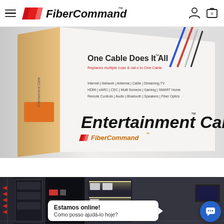FiberCommand™ — navigation header with hamburger menu, logo, user icon, and cart (0)
[Figure (photo): Product box for FiberCommand Entertainment Cable. Box reads: 'One Cable Does It All™', 'Replaces multiple coax & cat-x to One Cable', 'Internet | Network | Antenna | Cable | Streaming TV', 'HDMI | eARC | CEC | Multi Screens | Gaming | SMART Home', 'Remote Controls | Audio | Bluetooth | Speakers | Fiber Optics', 'Entertainment Cable™', 'FiberCommand']
[Figure (photo): Interior room photo showing a dark entertainment center/cabinet with built-in lighting. Red arrow chevrons visible on left side. A chat widget overlaid shows 'Estamos online!' and 'Como posso ajudá-lo hoje?' with a blue circular chat button with speech bubble icon on the right.]
Estamos online! Como posso ajudá-lo hoje?